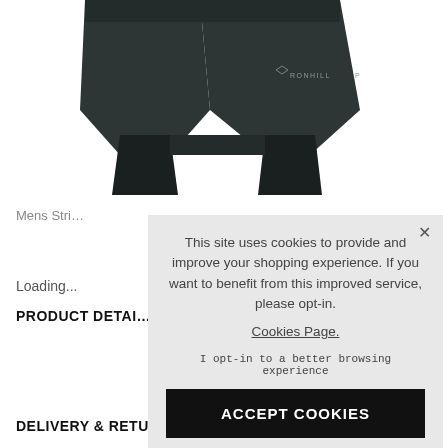[Figure (photo): Product photo of dark/black Ronhill men's running shorts with inner compression layer, shown from front on white background]
Mens Stri…
Loading...
PRODUCT DETAI…
DELIVERY & RETURNS
This site uses cookies to provide and improve your shopping experience. If you want to benefit from this improved service, please opt-in. Cookies Page.

I opt-in to a better browsing experience

ACCEPT COOKIES